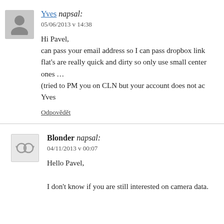Yves napsal:
05/06/2013 v 14:38
Hi Pavel,
can pass your email address so I can pass dropbox link flat's are really quick and dirty so only use small center ones …
(tried to PM you on CLN but your account does not acc
Yves
Odpovědět
Blonder napsal:
04/11/2013 v 00:07
Hello Pavel,
I don't know if you are still interested on camera data.